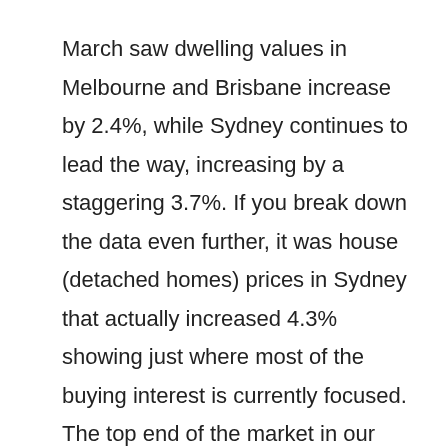March saw dwelling values in Melbourne and Brisbane increase by 2.4%, while Sydney continues to lead the way, increasing by a staggering 3.7%. If you break down the data even further, it was house (detached homes) prices in Sydney that actually increased 4.3% showing just where most of the buying interest is currently focused. The top end of the market in our three largest cities continues to be where most of the demand is at the moment and CoreLogic noted that 'the upper quartile of the market recorded a 3.7% lift in values in March, while the lower quartile was up less than half this rate at 1.6%'.